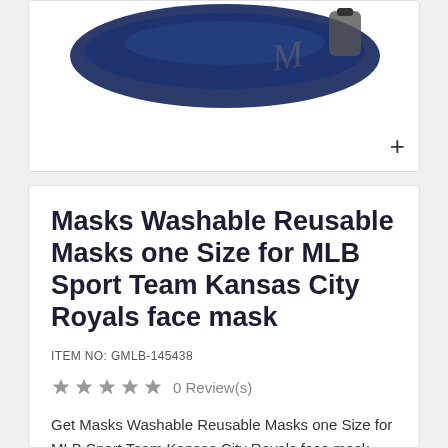[Figure (photo): Product photo of a Kansas City Royals face mask in dark blue, shown partially at the top of the page with a plus button in the bottom right corner.]
Masks Washable Reusable Masks one Size for MLB Sport Team Kansas City Royals face mask
ITEM NO: GMLB-145438
★★★★★  0 Review(s)
Get Masks Washable Reusable Masks one Size for MLB Sport Team Kansas City Royals face mask from mlb-facemasks.com with Fast Delievry and Free Worldwide Shipping.